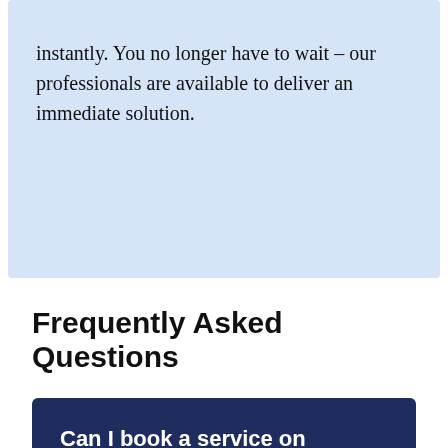instantly. You no longer have to wait – our professionals are available to deliver an immediate solution.
Frequently Asked Questions
Can I book a service on weekends?